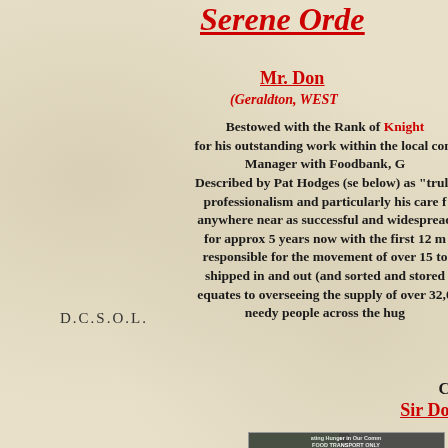Serene Orde...
Mr. Don...
(Geraldton, WEST...
Bestowed with the Rank of Knight... for his outstanding work within the local com... Manager with Foodbank, G... Described by Pat Hodges (se below) as "truly... professionalism and particularly his care f... anywhere near as successful and widespread... for approx 5 years now with the first 12 m... responsible for the movement of over 15 to... shipped in and out (and sorted and stored ... equates to overseeing the supply of over 32,0... needy people across the hug...
D.C.S.O.L.
Congra...
Sir Doug Bi...
[Figure (photo): Two people standing together holding documents, with banner text about hunger in community and food transport]
Dame Pat & Sir...